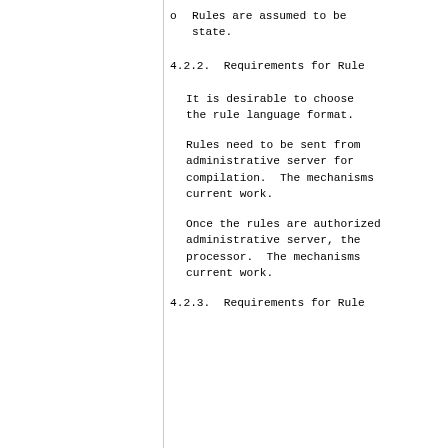o  Rules are assumed to be state.
4.2.2.  Requirements for Rule
It is desirable to choose the rule language format.
Rules need to be sent from administrative server for compilation.  The mechanisms current work.
Once the rules are authorized administrative server, the processor.  The mechanisms current work.
4.2.3.  Requirements for Rule